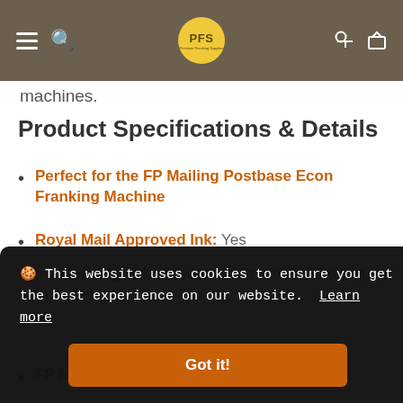PFS navigation header
machines.
Product Specifications & Details
Perfect for the FP Mailing Postbase Econ Franking Machine
Royal Mail Approved Ink: Yes
Ink Cartridge Manufacturer: Premium Franking Supplies
FP Mailing Replacement Part Number /
🍪 This website uses cookies to ensure you get the best experience on our website. Learn more Got it!